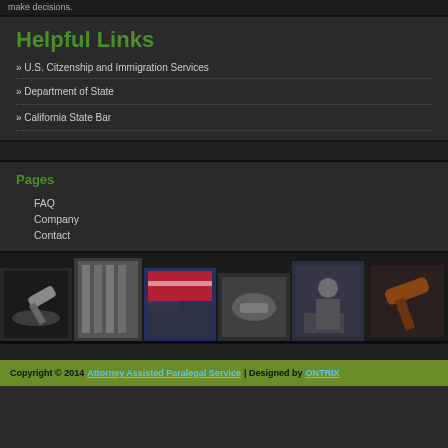make decisions.
Helpful Links
» U.S. Citzenship and Immigration Services
» Department of State
» California State Bar
Pages
FAQ
Company
Contact
[Figure (photo): Row of legal/law themed photos: gavel, courthouse columns, American flag with gavel, handshake, doctor with patient, gavel close-up]
Copyright © 2014 Attorney Assisted Paralegal Service | Designed by ONTRIX